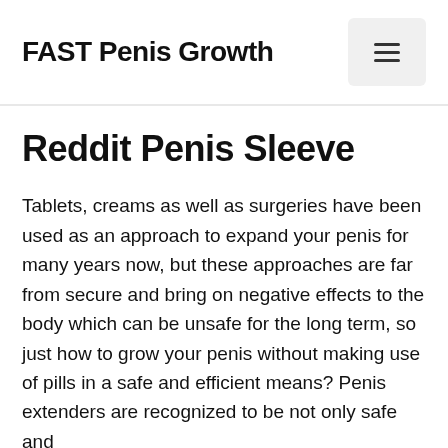FAST Penis Growth
Reddit Penis Sleeve
Tablets, creams as well as surgeries have been used as an approach to expand your penis for many years now, but these approaches are far from secure and bring on negative effects to the body which can be unsafe for the long term, so just how to grow your penis without making use of pills in a safe and efficient means? Penis extenders are recognized to be not only safe and